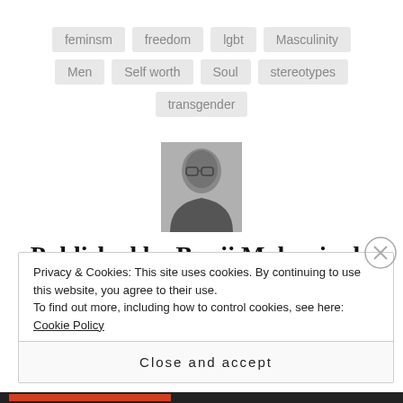feminsm
freedom
lgbt
Masculinity
Men
Self worth
Soul
stereotypes
transgender
[Figure (photo): Black and white photo of Banji Makanjuola, a bald man wearing glasses]
Published by Banji Makanjuola
Privacy & Cookies: This site uses cookies. By continuing to use this website, you agree to their use.
To find out more, including how to control cookies, see here: Cookie Policy
Close and accept